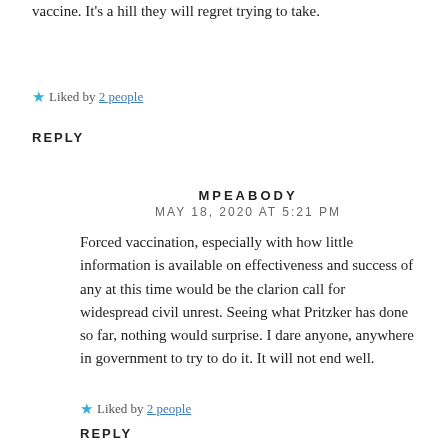vaccine. It's a hill they will regret trying to take.
Liked by 2 people
REPLY
MPEABODY
MAY 18, 2020 AT 5:21 PM
Forced vaccination, especially with how little information is available on effectiveness and success of any at this time would be the clarion call for widespread civil unrest. Seeing what Pritzker has done so far, nothing would surprise. I dare anyone, anywhere in government to try to do it. It will not end well.
Liked by 2 people
REPLY